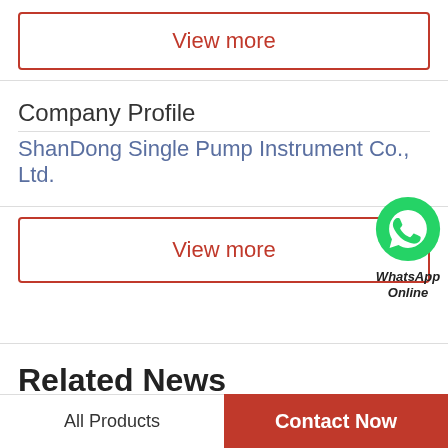View more
Company Profile
ShanDong Single Pump Instrument Co., Ltd.
View more
[Figure (logo): WhatsApp Online green phone icon with text 'WhatsApp Online' below]
Related News
How do hydraulic motors work?
What is hydraulic motor? - QuoraHydraulic motors and hydraulic pumps are both reversible hydraulic
All Products | Contact Now